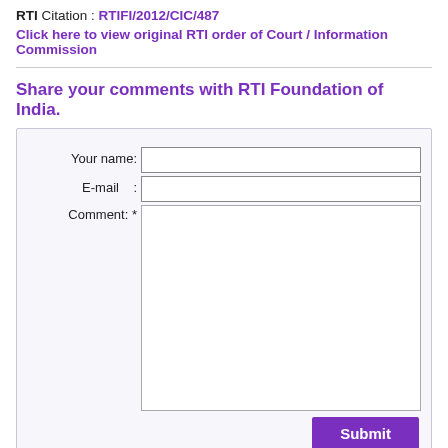RTI Citation : RTIFI/2012/CIC/487
Click here to view original RTI order of Court / Information Commission
Share your comments with RTI Foundation of India.
[Figure (other): Web form with fields: Your name, E-mail, Comment (textarea), and a Submit button]